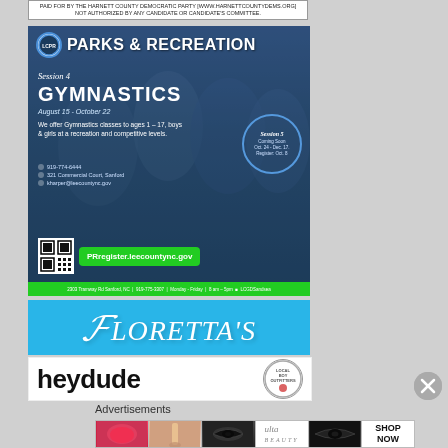[Figure (infographic): Disclaimer banner: PAID FOR BY THE HARNETT COUNTY DEMOCRATIC PARTY [WWW.HARNETTCOUNTYDEMS.ORG] NOT AUTHORIZED BY ANY CANDIDATE OR CANDIDATE'S COMMITTEE.]
[Figure (infographic): Parks & Recreation Session 4 Gymnastics ad. August 15 - October 22. We offer Gymnastics classes to ages 1-17, boys & girls at a recreation and competitive levels. 919-774-6444. 321 Commercial Court, Sanford. kharper@leecountync.gov. PRregister.leecountync.gov. Session 5 Coming Soon Oct. 24 - Dec. 17. Register: Oct. 8. Address: 2303 Tramway Rd Sanford NC | 919-775-3307 | Monday-Friday | 8am-5pm | LCGDSandsea]
[Figure (infographic): Floretta's advertisement on cyan/blue background with stylized italic white text]
[Figure (infographic): Hey Dude Local Boy Outfitters advertisement on white background]
Advertisements
[Figure (infographic): Bottom advertisement strip with makeup/beauty product images including lipstick, brush, eye makeup, ULTA logo, eye makeup, and SHOP NOW button]